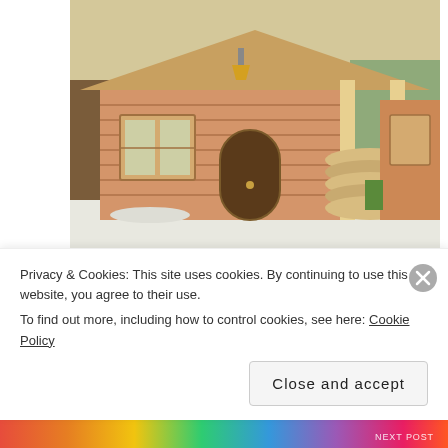[Figure (photo): Exterior photo of a small log cabin with wooden railings and porch, snow visible on the ground, bright natural wood tones]
[Pics] This Tiny Cabin Is 290 sq. ft., But Wait Till You See The Inside!
TheDecorIdeas
Share this:
Privacy & Cookies: This site uses cookies. By continuing to use this website, you agree to their use. To find out more, including how to control cookies, see here: Cookie Policy